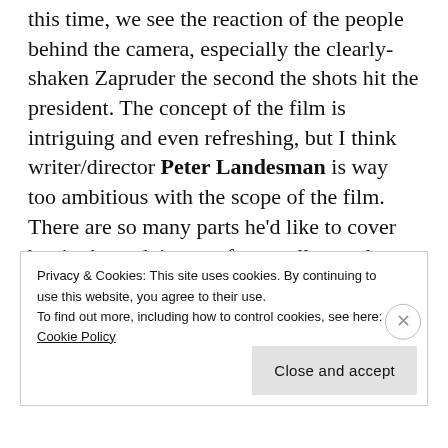this time, we see the reaction of the people behind the camera, especially the clearly-shaken Zapruder the second the shots hit the president. The concept of the film is intriguing and even refreshing, but I think writer/director Peter Landesman is way too ambitious with the scope of the film. There are so many parts he'd like to cover but in the end, it sort of went all over the place. The scenes at the hospital seems to go on forever, especially the part
Privacy & Cookies: This site uses cookies. By continuing to use this website, you agree to their use.
To find out more, including how to control cookies, see here: Cookie Policy
Close and accept